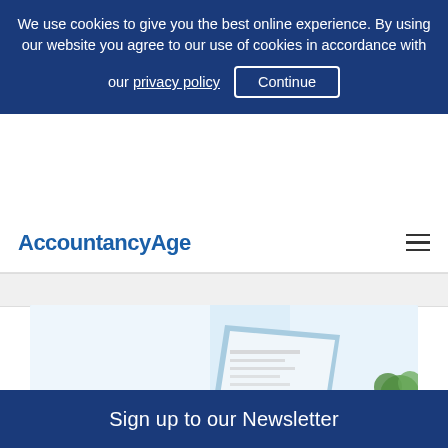We use cookies to give you the best online experience. By using our website you agree to our use of cookies in accordance with our privacy policy  Continue
AccountancyAge
[Figure (photo): Person typing on a laptop/tablet keyboard, with a document displayed on screen, sitting at a glass desk with glasses nearby and a plant in background. Bright, light office setting.]
Accounting Firms Versatile IT skills "invaluable" to small accountancy firms in
Sign up to our Newsletter